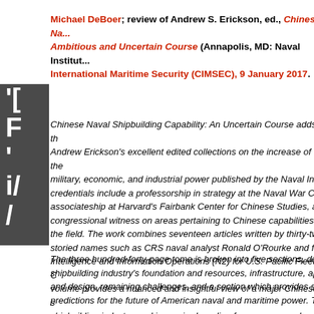Michael DeBoer; review of Andrew S. Erickson, ed., Chinese Na... Ambitious and Uncertain Course (Annapolis, MD: Naval Institu... International Maritime Security (CIMSEC), 9 January 2017.
Chinese Naval Shipbuilding Capability: An Uncertain Course adds th... Andrew Erickson's excellent edited collections on the increase of the... military, economic, and industrial power published by the Naval Insti... credentials include a professorship in strategy at the Naval War Col... associateship at Harvard's Fairbank Center for Chinese Studies, an... congressional witness on areas pertaining to Chinese capabilities a... the field. The work combines seventeen articles written by thirty-two... storied names such as CRS naval analyst Ronald O'Rourke and for... Intelligence and Information Operations (N2) for U.S. Pacific Fleet C... volume provides a nuanced and insightful view of a major Chinese s... shipbuilding industry, and is required reading for anyone, academic... understand the associated capabilities and implications of the Peop...
The three hundred-forty-page tome is broken into five sections, des... shipbuilding industry's foundation and resources, infrastructure, app... and design, remaining challenges, and a section which provides str... predictions for the future of American naval and maritime power. Th...